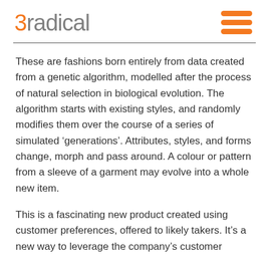3radical
These are fashions born entirely from data created from a genetic algorithm, modelled after the process of natural selection in biological evolution. The algorithm starts with existing styles, and randomly modifies them over the course of a series of simulated ‘generations’. Attributes, styles, and forms change, morph and pass around. A colour or pattern from a sleeve of a garment may evolve into a whole new item.
This is a fascinating new product created using customer preferences, offered to likely takers. It’s a new way to leverage the company’s customer